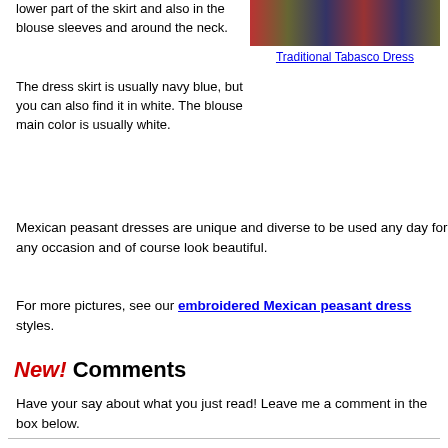lower part of the skirt and also in the blouse sleeves and around the neck.
[Figure (photo): Traditional Tabasco Dress photo showing colorful traditional Mexican dress]
Traditional Tabasco Dress
The dress skirt is usually navy blue, but you can also find it in white. The blouse main color is usually white.
Mexican peasant dresses are unique and diverse to be used any day for any occasion and of course look beautiful.
For more pictures, see our embroidered Mexican peasant dress styles.
New! Comments
Have your say about what you just read! Leave me a comment in the box below.